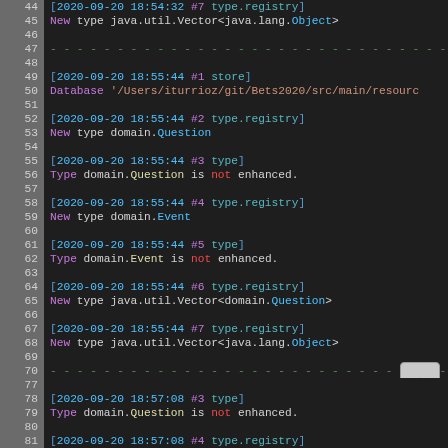[Figure (screenshot): Code editor/terminal output showing log lines 44-81 with syntax highlighting. Lines show timestamped log entries for type registry, database, and type checking operations in what appears to be a Java application log.]